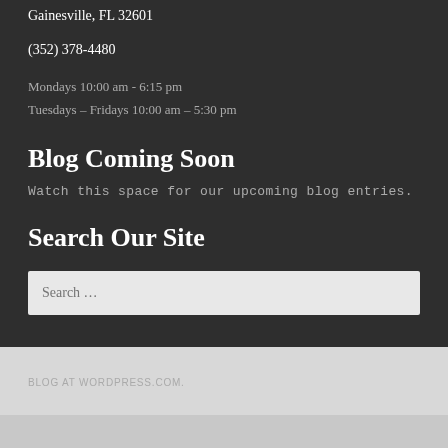Gainesville, FL 32601
(352) 378-4480
Mondays 10:00 am - 6:15 pm
Tuesdays – Fridays 10:00 am – 5:30 pm
Blog Coming Soon
Watch this space for our upcoming blog entries.
Search Our Site
Search …
BLOG AT WORDPRESS.COM.